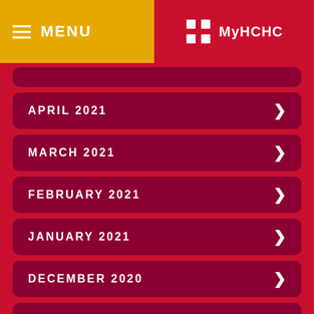MENU | MyHCHC
APRIL 2021
MARCH 2021
FEBRUARY 2021
JANUARY 2021
DECEMBER 2020
NOVEMBER 2020